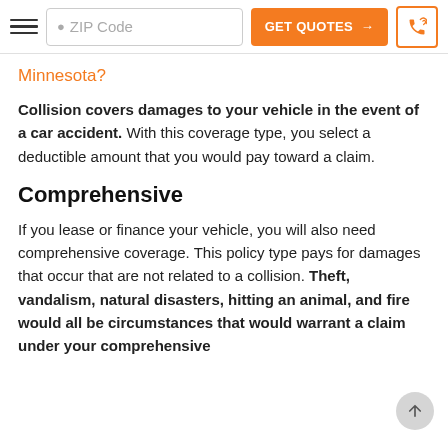ZIP Code | GET QUOTES → | phone button
Minnesota?
Collision covers damages to your vehicle in the event of a car accident. With this coverage type, you select a deductible amount that you would pay toward a claim.
Comprehensive
If you lease or finance your vehicle, you will also need comprehensive coverage. This policy type pays for damages that occur that are not related to a collision. Theft, vandalism, natural disasters, hitting an animal, and fire would all be circumstances that would warrant a claim under your comprehensive